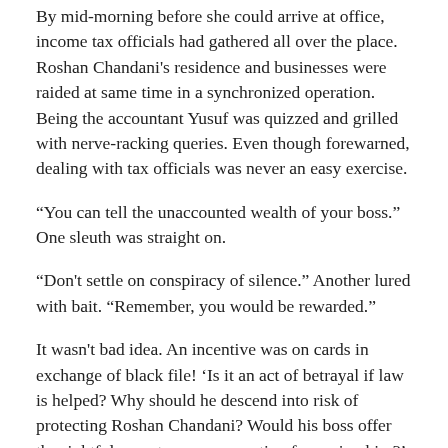By mid-morning before she could arrive at office, income tax officials had gathered all over the place. Roshan Chandani's residence and businesses were raided at same time in a synchronized operation. Being the accountant Yusuf was quizzed and grilled with nerve-racking queries. Even though forewarned, dealing with tax officials was never an easy exercise.
“You can tell the unaccounted wealth of your boss.” One sleuth was straight on.
“Don't settle on conspiracy of silence.” Another lured with bait. “Remember, you would be rewarded.”
It wasn't bad idea. An incentive was on cards in exchange of black file! ‘Is it an act of betrayal if law is helped? Why should he descend into risk of protecting Roshan Chandani? Would his boss offer the rightful monetary compensation for saving him?’
That particular night he remained restlessly sleepless. He was desperately in need of funds to provide a worthy future to his children. The monthly pay check was unsatisfactorily inadequate to support his cause. Roshan would not go poor…